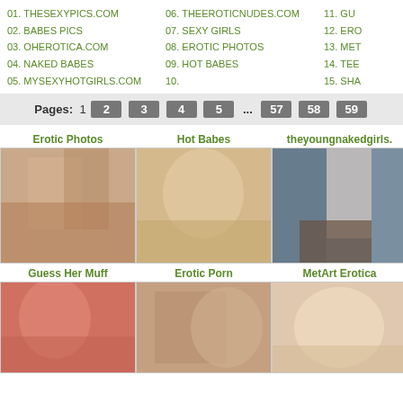01. THESEXYPICS.COM
02. BABES PICS
03. OHEROTICA.COM
04. NAKED BABES
05. MYSEXYHOTGIRLS.COM
06. THEEROTICNUDES.COM
07. SEXY GIRLS
08. EROTIC PHOTOS
09. HOT BABES
10. THEYOUNGNAKEDGIRLS.COM
11. GU...
12. ERO...
13. MET...
14. TEE...
15. SHA...
Pages: 1 2 3 4 5 ... 57 58 59
[Figure (photo): Thumbnail image placeholder for Erotic Photos]
[Figure (photo): Thumbnail image placeholder for Hot Babes]
[Figure (photo): Thumbnail image placeholder for theyoungnakedgirls.]
[Figure (photo): Thumbnail image placeholder for Guess Her Muff]
[Figure (photo): Thumbnail image placeholder for Erotic Porn]
[Figure (photo): Thumbnail image placeholder for MetArt Erotica]